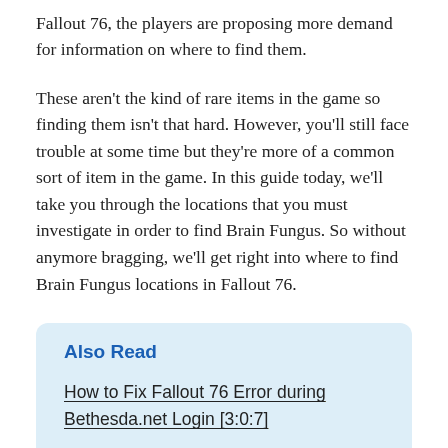Fallout 76, the players are proposing more demand for information on where to find them.
These aren't the kind of rare items in the game so finding them isn't that hard. However, you'll still face trouble at some time but they're more of a common sort of item in the game. In this guide today, we'll take you through the locations that you must investigate in order to find Brain Fungus. So without anymore bragging, we'll get right into where to find Brain Fungus locations in Fallout 76.
Also Read
How to Fix Fallout 76 Error during Bethesda.net Login [3:0:7]